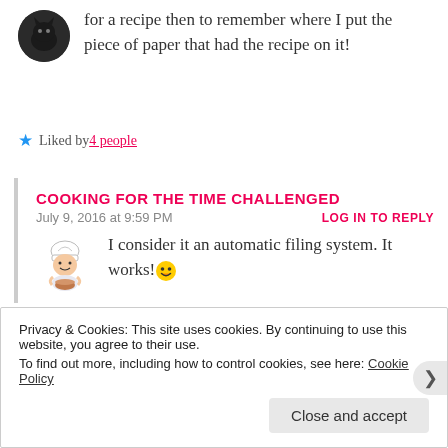for a recipe then to remember where I put the piece of paper that had the recipe on it!
Liked by 4 people
COOKING FOR THE TIME CHALLENGED
July 9, 2016 at 9:59 PM
LOG IN TO REPLY
I consider it an automatic filing system. It works! 😊
Like
Privacy & Cookies: This site uses cookies. By continuing to use this website, you agree to their use.
To find out more, including how to control cookies, see here: Cookie Policy
Close and accept